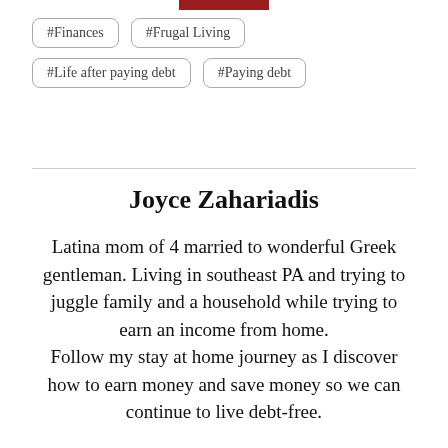[Figure (other): Red horizontal bar at top of page]
#Finances
#Frugal Living
#Life after paying debt
#Paying debt
Joyce Zahariadis
Latina mom of 4 married to wonderful Greek gentleman. Living in southeast PA and trying to juggle family and a household while trying to earn an income from home.
Follow my stay at home journey as I discover how to earn money and save money so we can continue to live debt-free.